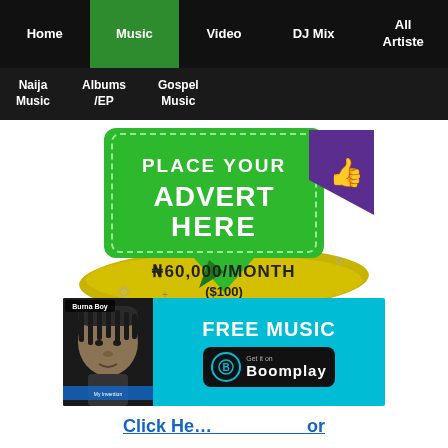Home | Music | Video | DJ Mix | All Artiste
Naija Music | Albums /EP | Gospel Music
[Figure (infographic): Place Your Advert Here promotional banner with green speech bubble, purple triangle with thumbs up icon, yellow brush stroke with ₦60,000/MONTH ($100) price]
[Figure (infographic): Boomplay FREE MUSIC banner with Burna Boy image on cyan background with Get it on Boomplay button]
Click Here ... or